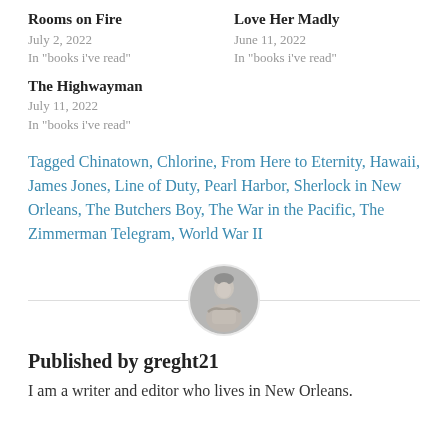Rooms on Fire
July 2, 2022
In "books i've read"
Love Her Madly
June 11, 2022
In "books i've read"
The Highwayman
July 11, 2022
In "books i've read"
Tagged Chinatown, Chlorine, From Here to Eternity, Hawaii, James Jones, Line of Duty, Pearl Harbor, Sherlock in New Orleans, The Butchers Boy, The War in the Pacific, The Zimmerman Telegram, World War II
[Figure (photo): Circular avatar photo of a person with arms crossed, black and white or muted tone, centered on the page with a horizontal divider line behind it.]
Published by greght21
I am a writer and editor who lives in New Orleans.